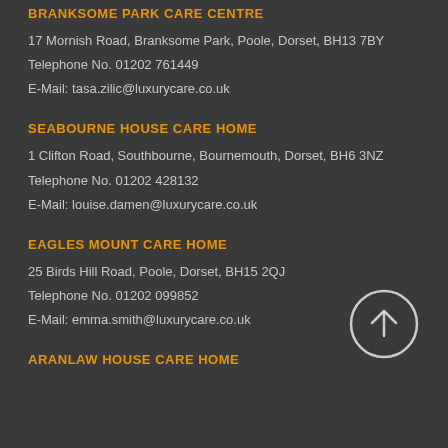BRANKSOME PARK CARE CENTRE
17 Mornish Road, Branksome Park, Poole, Dorset, BH13 7BY
Telephone No. 01202 761449
E-Mail: tasa.zilic@luxurycare.co.uk
SEABOURNE HOUSE CARE HOME
1 Clifton Road, Southbourne, Bournemouth, Dorset, BH6 3NZ
Telephone No. 01202 428132
E-Mail: louise.damen@luxurycare.co.uk
EAGLES MOUNT CARE HOME
25 Birds Hill Road, Poole, Dorset, BH15 2QJ
Telephone No. 01202 099852
E-Mail: emma.smith@luxurycare.co.uk
ARANLAW HOUSE CARE HOME